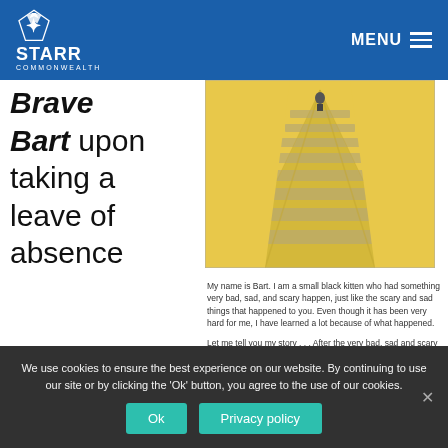STARR COMMONWEALTH — MENU
Brave Bart upon taking a leave of absence
[Figure (illustration): Illustration from the Brave Bart book showing a yellow brick path leading into the distance with a small figure at the end.]
My name is Bart. I am a small black kitten who had something very bad, sad, and scary happen, just like the scary and sad things that happened to you. Even though it has been very hard for me, I have learned a lot because of what happened.

Let me tell you my story . . . After the very bad, sad and scary thing happened, many things changed in my life – especially my feelings and how I acted.
from her school social work position when she moved out of state. Sheppard wanted to continue to
We use cookies to ensure the best experience on our website. By continuing to use our site or by clicking the 'Ok' button, you agree to the use of our cookies.
Ok
Privacy policy